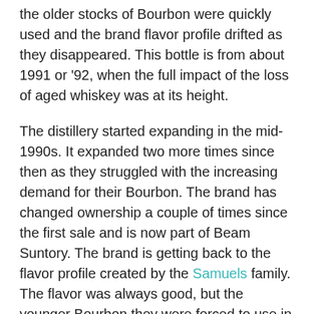the older stocks of Bourbon were quickly used and the brand flavor profile drifted as they disappeared. This bottle is from about 1991 or '92, when the full impact of the loss of aged whiskey was at its height.
The distillery started expanding in the mid-1990s. It expanded two more times since then as they struggled with the increasing demand for their Bourbon. The brand has changed ownership a couple of times since the first sale and is now part of Beam Suntory. The brand is getting back to the flavor profile created by the Samuels family. The flavor was always good, but the younger Bourbon they were forced to use in the 1990s, made it thin and simple. It lost the rich caramel and apple fruit that it had in the early 1980s and of today.